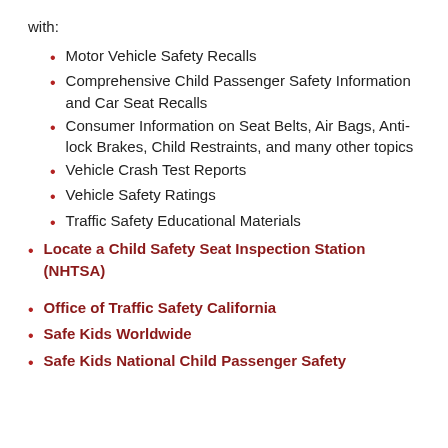with:
Motor Vehicle Safety Recalls
Comprehensive Child Passenger Safety Information and Car Seat Recalls
Consumer Information on Seat Belts, Air Bags, Anti-lock Brakes, Child Restraints, and many other topics
Vehicle Crash Test Reports
Vehicle Safety Ratings
Traffic Safety Educational Materials
Locate a Child Safety Seat Inspection Station (NHTSA)
Office of Traffic Safety California
Safe Kids Worldwide
Safe Kids National Child Passenger Safety Certification Program